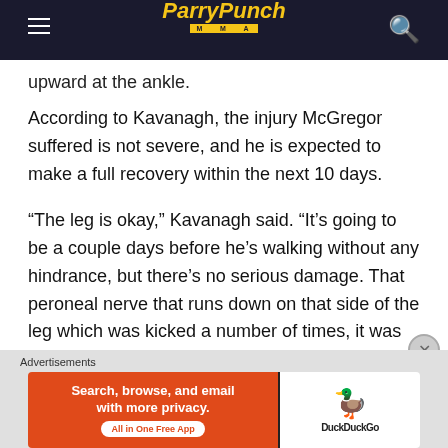ParryPunch MMA
upward at the ankle.
According to Kavanagh, the injury McGregor suffered is not severe, and he is expected to make a full recovery within the next 10 days.
“The leg is okay,” Kavanagh said. “It’s going to be a couple days before he’s walking without any hindrance, but there’s no serious damage. That peroneal nerve that runs down on that side of the leg which was kicked a number of times, it was completely dead. Then the leg started filling up with blood as well, (resulting in) restriction. So he couldn’t move on it at all.”
Advertisements